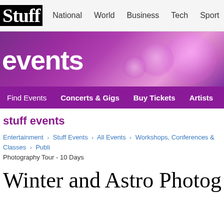Stuff | National | World | Business | Tech | Sport | Entertainment
[Figure (screenshot): Events banner with bokeh purple/pink background and 'events' text in white]
Find Events | Concerts & Gigs | Buy Tickets | Artists | Tours | Venue
stuff events
Entertainment › Stuff Events › All Events › Workshops, Conferences & Classes › Public Photography Tour - 10 Days
Winter and Astro Photography Tou